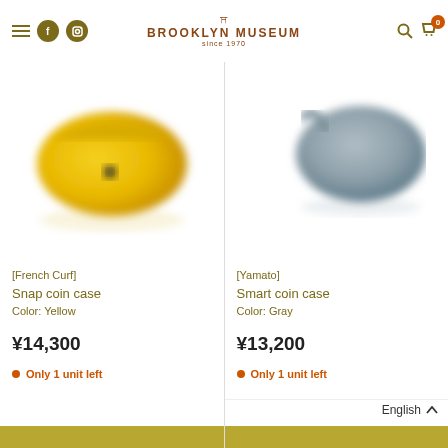BROOKLYN MUSEUM since 1970
[Figure (photo): Yellow leather snap coin case purse with dark snap button, blurred product photo on white background]
[French Curf]
Snap coin case
Color: Yellow
¥14,300
Only 1 unit left
[Figure (photo): Gray leather smart coin case with strap, blurred product photo on white background]
[Yamato]
Smart coin case
Color: Gray
¥13,200
Only 1 unit left